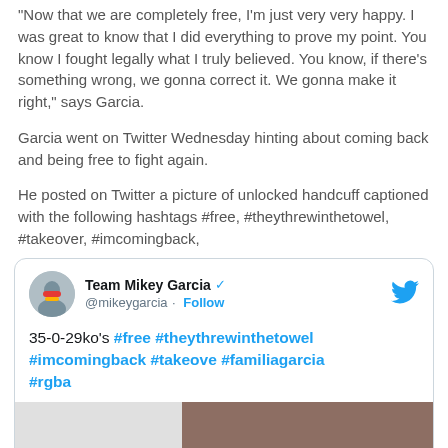"Now that we are completely free, I'm just very very happy. I was great to know that I did everything to prove my point. You know I fought legally what I truly believed. You know, if there's something wrong, we gonna correct it. We gonna make it right," says Garcia.
Garcia went on Twitter Wednesday hinting about coming back and being free to fight again.
He posted on Twitter a picture of unlocked handcuff captioned with the following hashtags #free, #theythrewinthetowel, #takeover, #imcomingback,
[Figure (screenshot): Embedded tweet from @mikeygarcia (Team Mikey Garcia, verified account) showing tweet text: '35-0-29ko’s #free #theythrewinthetowel #imcomingback #takeove #familiagarcia #rgba' with a partial image preview below]